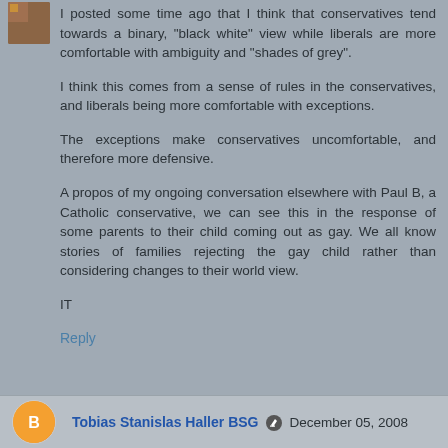I posted some time ago that I think that conservatives tend towards a binary, "black white" view while liberals are more comfortable with ambiguity and "shades of grey".
I think this comes from a sense of rules in the conservatives, and liberals being more comfortable with exceptions.
The exceptions make conservatives uncomfortable, and therefore more defensive.
A propos of my ongoing conversation elsewhere with Paul B, a Catholic conservative, we can see this in the response of some parents to their child coming out as gay. We all know stories of families rejecting the gay child rather than considering changes to their world view.
IT
Reply
Tobias Stanislas Haller BSG  December 05, 2008